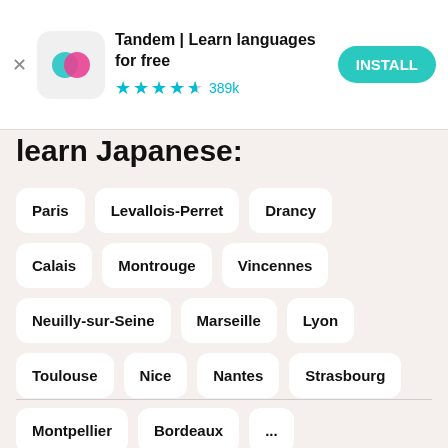[Figure (screenshot): App advertisement banner for Tandem | Learn languages for free with app icon, 4.5 star rating with 389k reviews, and INSTALL button]
learn Japanese:
Paris
Levallois-Perret
Drancy
Calais
Montrouge
Vincennes
Neuilly-sur-Seine
Marseille
Lyon
Toulouse
Nice
Nantes
Strasbourg
Montpellier
Bordeaux
...